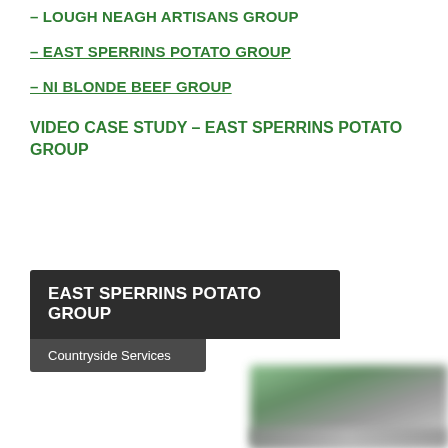– LOUGH NEAGH ARTISANS GROUP
– EAST SPERRINS POTATO GROUP
– NI BLONDE BEEF GROUP
VIDEO CASE STUDY – EAST SPERRINS POTATO GROUP
[Figure (screenshot): Video thumbnail card with dark background showing title 'EAST SPERRINS POTATO GROUP' and subtitle 'Countryside Services', with a blurred green/grey image partially visible at bottom right]